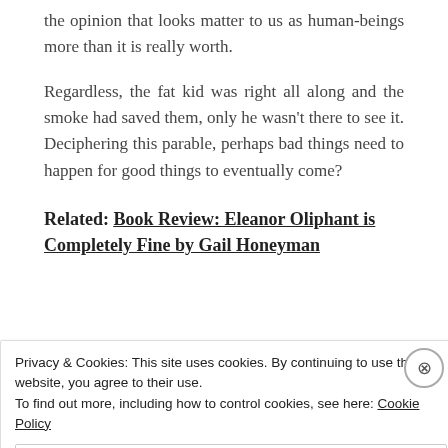the opinion that looks matter to us as human-beings more than it is really worth.
Regardless, the fat kid was right all along and the smoke had saved them, only he wasn't there to see it. Deciphering this parable, perhaps bad things need to happen for good things to eventually come?
Related: Book Review: Eleanor Oliphant is Completely Fine by Gail Honeyman
Advertisements
Privacy & Cookies: This site uses cookies. By continuing to use this website, you agree to their use.
To find out more, including how to control cookies, see here: Cookie Policy
Close and accept